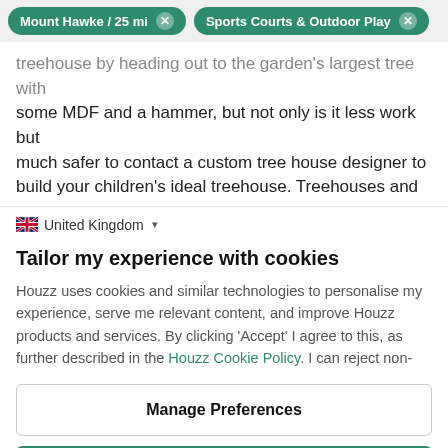Mount Hawke / 25 mi  ✕   Sports Courts & Outdoor Play  ✕
treehouse by heading out to the garden's largest tree with some MDF and a hammer, but not only is it less work but much safer to contact a custom tree house designer to build your children's ideal treehouse. Treehouses and
🇬🇧 United Kingdom ▾
Tailor my experience with cookies
Houzz uses cookies and similar technologies to personalise my experience, serve me relevant content, and improve Houzz products and services. By clicking 'Accept' I agree to this, as further described in the Houzz Cookie Policy. I can reject non-
Manage Preferences
Accept